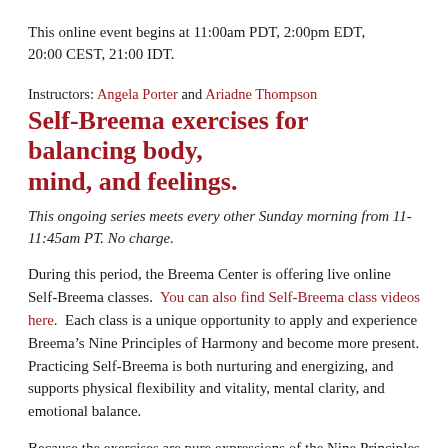This online event begins at 11:00am PDT, 2:00pm EDT, 20:00 CEST, 21:00 IDT.
Instructors: Angela Porter and Ariadne Thompson
Self-Breema exercises for balancing body, mind, and feelings.
This ongoing series meets every other Sunday morning from 11-11:45am PT. No charge.
During this period, the Breema Center is offering live online Self-Breema classes.  You can also find Self-Breema class videos here.  Each class is a unique opportunity to apply and experience Breema’s Nine Principles of Harmony and become more present. Practicing Self-Breema is both nurturing and energizing, and supports physical flexibility and vitality, mental clarity, and emotional balance.
Because the exercises are pure expressions of the Nine Principles